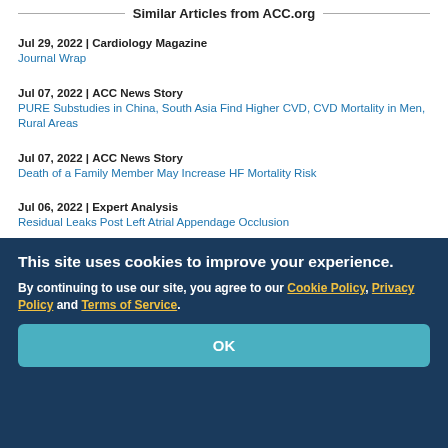Similar Articles from ACC.org
Jul 29, 2022 | Cardiology Magazine
Journal Wrap
Jul 07, 2022 | ACC News Story
PURE Substudies in China, South Asia Find Higher CVD, CVD Mortality in Men, Rural Areas
Jul 07, 2022 | ACC News Story
Death of a Family Member May Increase HF Mortality Risk
Jul 06, 2022 | Expert Analysis
Residual Leaks Post Left Atrial Appendage Occlusion
This site uses cookies to improve your experience.
By continuing to use our site, you agree to our Cookie Policy, Privacy Policy and Terms of Service.
OK